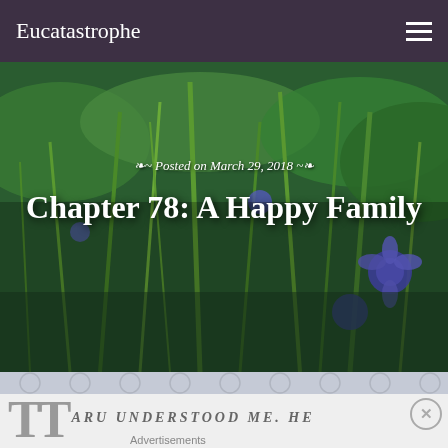Eucatastrophe
[Figure (photo): Outdoor nature photo showing green grass, stems, and purple/blue wildflowers with overlay text showing post date and chapter title]
~ Posted on March 29, 2018 ~
Chapter 78: A Happy Family
ARU UNDERSTOOD ME. HE
[Figure (screenshot): DuckDuckGo advertisement: Search, browse, and email with more privacy. All in One Free App. Shows phone with DuckDuckGo logo.]